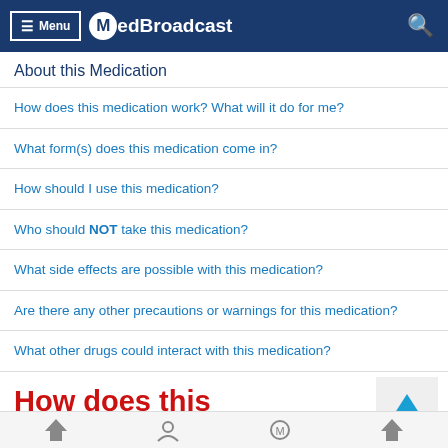Menu | MedBroadcast
About this Medication
How does this medication work? What will it do for me?
What form(s) does this medication come in?
How should I use this medication?
Who should NOT take this medication?
What side effects are possible with this medication?
Are there any other precautions or warnings for this medication?
What other drugs could interact with this medication?
How does this medication work?